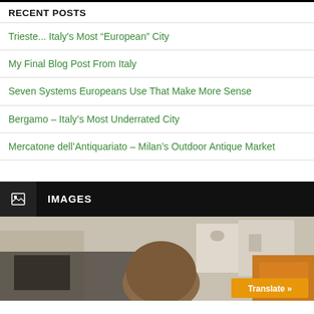RECENT POSTS
Trieste... Italy's Most “European” City
My Final Blog Post From Italy
Seven Systems Europeans Use That Make More Sense
Bergamo – Italy’s Most Underrated City
Mercatone dell’Antiquariato – Milan’s Outdoor Antique Market
IMAGES
[Figure (photo): Outdoor photo showing a person in foreground, buildings and a vehicle visible in background. A translate button overlay appears at bottom right.]